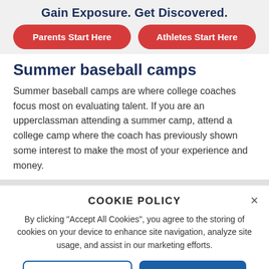Gain Exposure. Get Discovered.
Parents Start Here
Athletes Start Here
Summer baseball camps
Summer baseball camps are where college coaches focus most on evaluating talent. If you are an upperclassman attending a summer camp, attend a college camp where the coach has previously shown some interest to make the most of your experience and money.
COOKIE POLICY
By clicking "Accept All Cookies", you agree to the storing of cookies on your device to enhance site navigation, analyze site usage, and assist in our marketing efforts.
Cookies Settings
Accept All Cookies